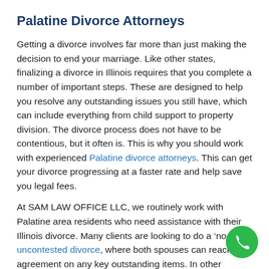Palatine Divorce Attorneys
Getting a divorce involves far more than just making the decision to end your marriage. Like other states, finalizing a divorce in Illinois requires that you complete a number of important steps. These are designed to help you resolve any outstanding issues you still have, which can include everything from child support to property division. The divorce process does not have to be contentious, but it often is. This is why you should work with experienced Palatine divorce attorneys. This can get your divorce progressing at a faster rate and help save you legal fees.
At SAM LAW OFFICE LLC, we routinely work with Palatine area residents who need assistance with their Illinois divorce. Many clients are looking to do a ‘no-fault’ uncontested divorce, where both spouses can reach an agreement on any key outstanding items. In other situations, it will be necessary to have a judge resolve the same issues because the spouses cannot reach an agreement. No matter what your situation...